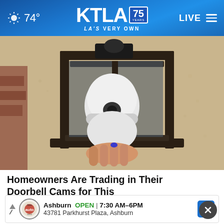74° KTLA 75 YEARS LA'S VERY OWN LIVE
[Figure (photo): Close-up photo of a hand inserting a white spherical security camera into an outdoor lantern-style light fixture mounted on a textured stucco wall]
Homeowners Are Trading in Their Doorbell Cams for This
Kellini
[Figure (infographic): Advertisement banner for Firestone Auto Care in Ashburn showing OPEN 7:30 AM–6PM and address 43781 Parkhurst Plaza, Ashburn]